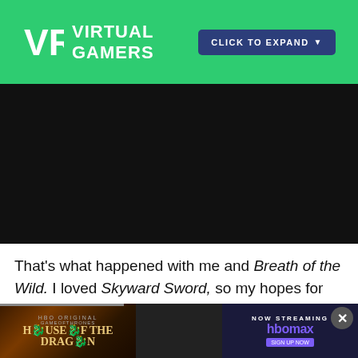VIRTUAL GAMERS | CLICK TO EXPAND
[Figure (screenshot): Dark video player area with black background]
That's what happened with me and Breath of the Wild. I loved Skyward Sword, so my hopes for "the sequel" were high when I heard that many of SS's basic mechanics (stamina bar, weapon crafting, heavy...
[Figure (screenshot): Advertisement banner for House of the Dragon on HBO Max with close button]